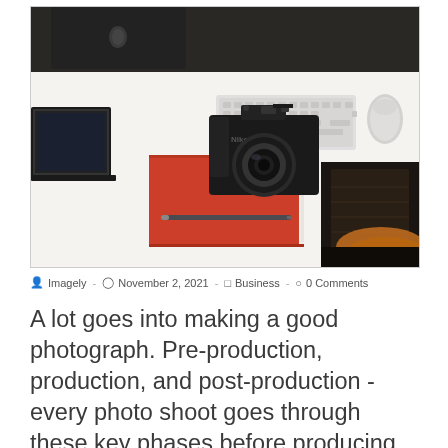[Figure (photo): A Nikon camera sitting on a red notebook on a white desk, with an Apple iMac, keyboard, and mouse visible in the background, and a wooden chair partially visible.]
Imagely  -  November 2, 2021  -  Business  -  0 Comments
A lot goes into making a good photograph. Pre-production, production, and post-production - every photo shoot goes through these key phases before producing